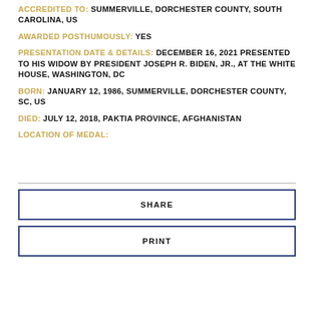ACCREDITED TO: SUMMERVILLE, DORCHESTER COUNTY, SOUTH CAROLINA, US
AWARDED POSTHUMOUSLY: YES
PRESENTATION DATE & DETAILS: DECEMBER 16, 2021 PRESENTED TO HIS WIDOW BY PRESIDENT JOSEPH R. BIDEN, JR., AT THE WHITE HOUSE, WASHINGTON, DC
BORN: JANUARY 12, 1986, SUMMERVILLE, DORCHESTER COUNTY, SC, US
DIED: JULY 12, 2018, PAKTIA PROVINCE, AFGHANISTAN
LOCATION OF MEDAL: